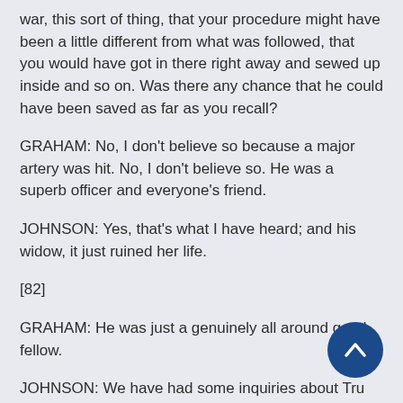war, this sort of thing, that your procedure might have been a little different from what was followed, that you would have got in there right away and sewed up inside and so on. Was there any chance that he could have been saved as far as you recall?
GRAHAM: No, I don't believe so because a major artery was hit. No, I don't believe so. He was a superb officer and everyone's friend.
JOHNSON: Yes, that's what I have heard; and his widow, it just ruined her life.
[82]
GRAHAM: He was just a genuinely all around good fellow.
JOHNSON: We have had some inquiries about Tru’s dental history. I know you weren't his dentist, but think if he had a weakness it might have been dental, or do you know if he had any unusual dental problems?